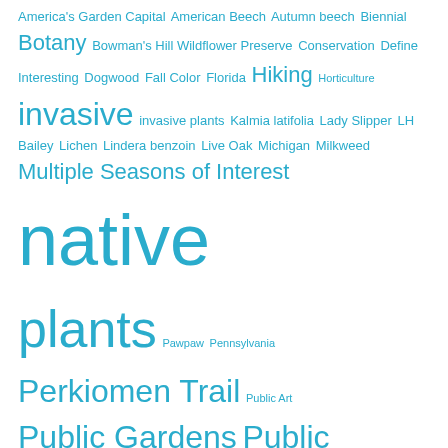America's Garden Capital American Beech Autumn beech Biennial Botany Bowman's Hill Wildflower Preserve Conservation Define Interesting Dogwood Fall Color Florida Hiking Horticulture invasive invasive plants Kalmia latifolia Lady Slipper LH Bailey Lichen Lindera benzoin Live Oak Michigan Milkweed Multiple Seasons of Interest native plants Pawpaw Pennsylvania Perkiomen Trail Public Art Public Gardens Public Horticulture public service announcement Quercus virginana Rails to Trails Rail Trail Reflection Road Trip! Scott Arboretum Seed Dispersal Spicebush spring Sumac summer Trails Transformation trees Vermont waterfalls winter
CONTENT USE AND CREDIT
All photographs and content are by the author unless otherwise noted. © Kathleen V Salisbury and HORTravels.com Unauthorized use and/or duplication of this material without express and written permission from this blog's author and/or owner is strictly prohibited. Excerpts and links may be used, provided that full and clear credit is given to Kathleen V Salisbury and HORTravels with appropriate and